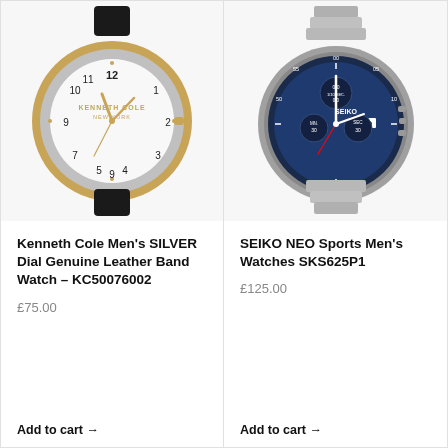[Figure (photo): Kenneth Cole men's silver dial watch with gold case and black leather band]
Kenneth Cole Men's SILVER Dial Genuine Leather Band Watch – KC50076002
£75.00
Add to cart →
[Figure (photo): SEIKO NEO Sports men's chronograph watch with blue dial and steel bracelet]
SEIKO NEO Sports Men's Watches SKS625P1
£125.00
Add to cart →